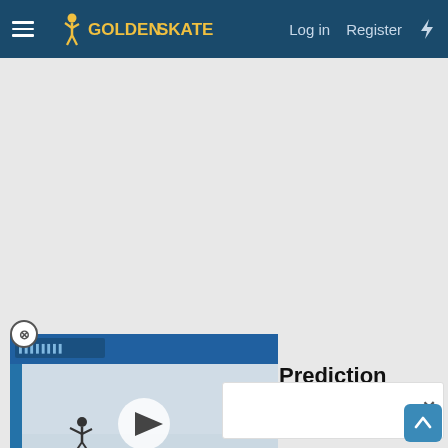GoldenSkate — Log in  Register
[Figure (screenshot): Video thumbnail showing a figure skater on an ice rink with a white play button overlay]
2021 JGP Cup of Austria: Prediction Contest Deadline: 2021-10-07 at 11:00 (UTC/GMT)